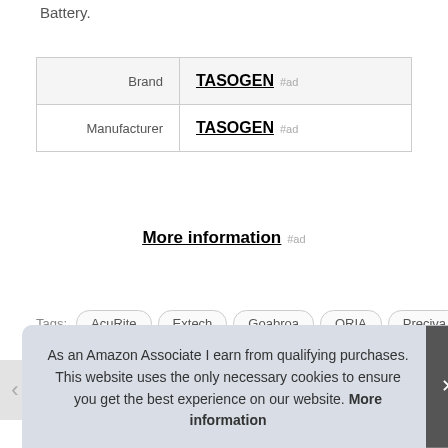Battery.
| Brand | TASOGEN #ad |
| Manufacturer | TASOGEN #ad |
More information #ad
Tags: AcuRite  Extech  Goabroa  ORIA  Preciva  Protmex  Scoyee  TASOGEN  YoLink
As an Amazon Associate I earn from qualifying purchases. This website uses the only necessary cookies to ensure you get the best experience on our website. More information